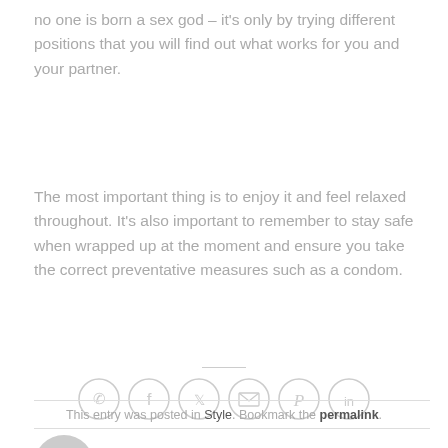no one is born a sex god – it's only by trying different positions that you will find out what works for you and your partner.
The most important thing is to enjoy it and feel relaxed throughout. It's also important to remember to stay safe when wrapped up at the moment and ensure you take the correct preventative measures such as a condom.
[Figure (other): Row of 6 social sharing icon buttons in circles: WhatsApp, Facebook, Twitter, Email, Pinterest, LinkedIn]
This entry was posted in Style. Bookmark the permalink.
AFROMART